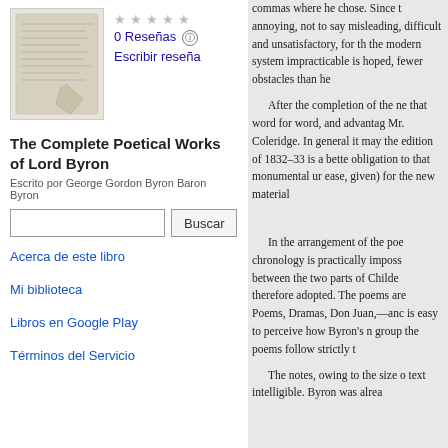[Figure (illustration): Thumbnail image of book cover for The Complete Poetical Works of Lord Byron]
0 Reseñas  Escribir reseña
The Complete Poetical Works of Lord Byron
Escrito por George Gordon Byron Baron Byron
Buscar
Acerca de este libro
Mi biblioteca
Libros en Google Play
Términos del Servicio
commas where he chose. Since t annoying, not to say misleading, difficult and unsatisfactory, for th the modern system impracticable is hoped, fewer obstacles than he
After the completion of the ne that word for word, and advantag Mr. Coleridge. In general it may the edition of 1832–33 is a bette obligation to that monumental ur ease, given) for the new material
In the arrangement of the poe chronology is practically imposs between the two parts of Childe therefore adopted. The poems are Poems, Dramas, Don Juan,—anc is easy to perceive how Byron's n group the poems follow strictly t
The notes, owing to the size o text intelligible. Byron was alrea